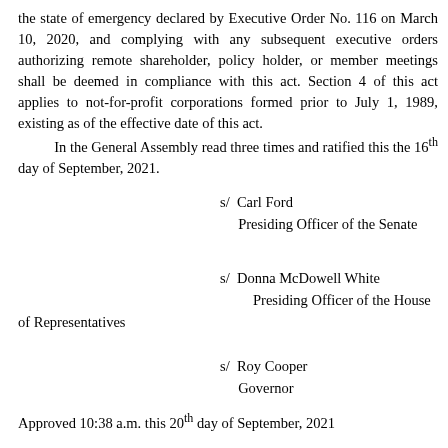the state of emergency declared by Executive Order No. 116 on March 10, 2020, and complying with any subsequent executive orders authorizing remote shareholder, policy holder, or member meetings shall be deemed in compliance with this act. Section 4 of this act applies to not-for-profit corporations formed prior to July 1, 1989, existing as of the effective date of this act. In the General Assembly read three times and ratified this the 16th day of September, 2021.
s/  Carl Ford
     Presiding Officer of the Senate
s/  Donna McDowell White
      Presiding Officer of the House of Representatives
s/  Roy Cooper
     Governor
Approved 10:38 a.m. this 20th day of September, 2021